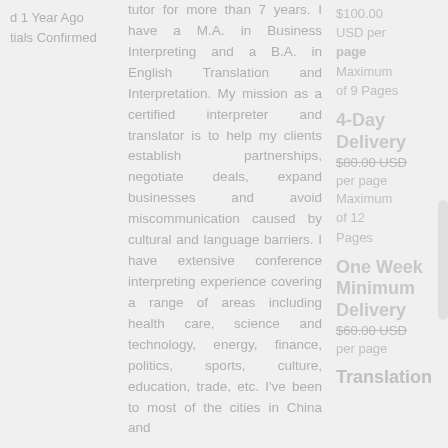d 1 Year Ago
tials Confirmed
tutor for more than 7 years. I have a M.A. in Business Interpreting and a B.A. in English Translation and Interpretation. My mission as a certified interpreter and translator is to help my clients establish partnerships, negotiate deals, expand businesses and avoid miscommunication caused by cultural and language barriers. I have extensive conference interpreting experience covering a range of areas including health care, science and technology, energy, finance, politics, sports, culture, education, trade, etc. I've been to most of the cities in China and
$100.00 USD per page Maximum of 9 Pages
4-Day Delivery
$80.00 USD per page Maximum of 12 Pages
One Week Minimum Delivery
$60.00 USD per page
Translation